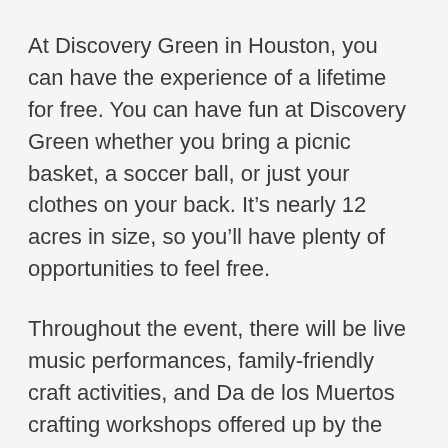At Discovery Green in Houston, you can have the experience of a lifetime for free. You can have fun at Discovery Green whether you bring a picnic basket, a soccer ball, or just your clothes on your back. It’s nearly 12 acres in size, so you’ll have plenty of opportunities to feel free.
Throughout the event, there will be live music performances, family-friendly craft activities, and Da de los Muertos crafting workshops offered up by the Orange Show Center for Visionary Art.